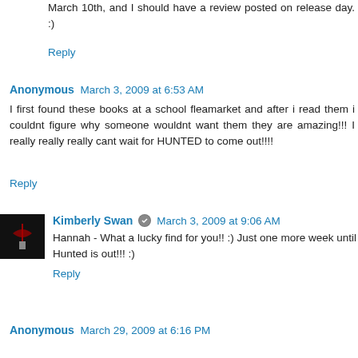March 10th, and I should have a review posted on release day. :)
Reply
Anonymous  March 3, 2009 at 6:53 AM
I first found these books at a school fleamarket and after i read them i couldnt figure why someone wouldnt want them they are amazing!!! I really really really cant wait for HUNTED to come out!!!!
Reply
Kimberly Swan  March 3, 2009 at 9:06 AM
Hannah - What a lucky find for you!! :) Just one more week until Hunted is out!!! :)
Reply
Anonymous  March 29, 2009 at 6:16 PM